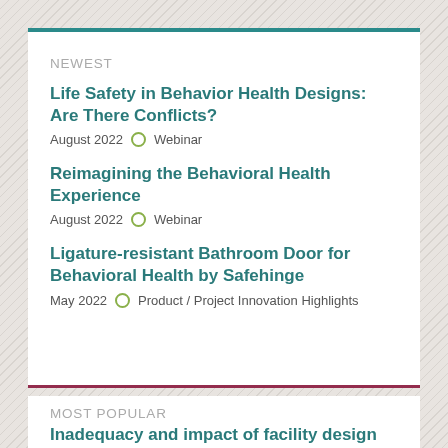NEWEST
Life Safety in Behavior Health Designs: Are There Conflicts?
August 2022   Webinar
Reimagining the Behavioral Health Experience
August 2022   Webinar
Ligature-resistant Bathroom Door for Behavioral Health by Safehinge
May 2022   Product / Project Innovation Highlights
MOST POPULAR
Inadequacy and impact of facility design for